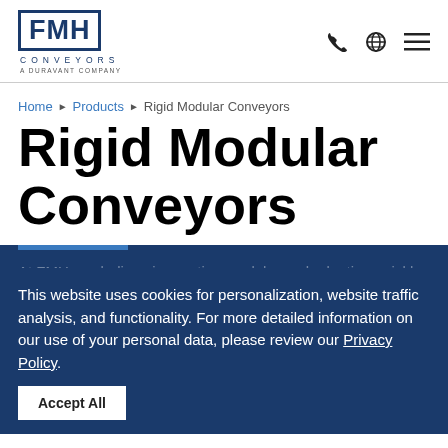[Figure (logo): FMH Conveyors logo - A Duravant Company, dark blue]
Home ▶ Products ▶ Rigid Modular Conveyors
Rigid Modular Conveyors
This website uses cookies for personalization, website traffic analysis, and functionality. For more detailed information on our use of your personal data, please review our Privacy Policy.
Accept All